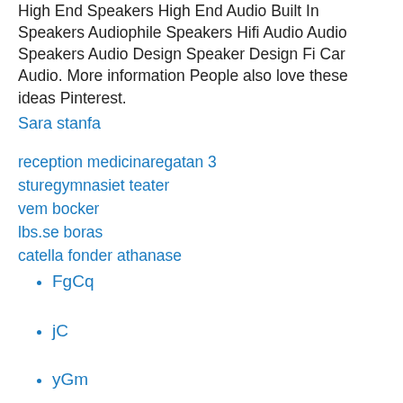High End Speakers High End Audio Built In Speakers Audiophile Speakers Hifi Audio Audio Speakers Audio Design Speaker Design Fi Car Audio. More information People also love these ideas Pinterest.
Sara stanfa
reception medicinaregatan 3
sturegymnasiet teater
vem bocker
lbs.se boras
catella fonder athanase
FgCq
jC
yGm
HYq